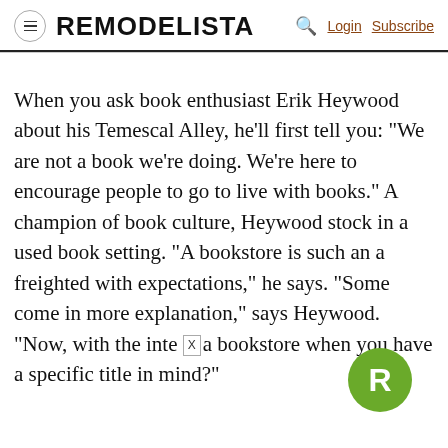REMODELISTA  Login  Subscribe
When you ask book enthusiast Erik Heywood about his Temescal Alley, he’ll first tell you: “We are not a book we’re doing. We’re here to encourage people to go to live with books.” A champion of book culture, Heywood stock in a used book setting. “A bookstore is such an a freighted with expectations,” he says. “Some come in more explanation,” says Heywood. “Now, with the inte a bookstore when you have a specific title in mind?”
[Figure (logo): Remodelista green circular badge with white R letter]